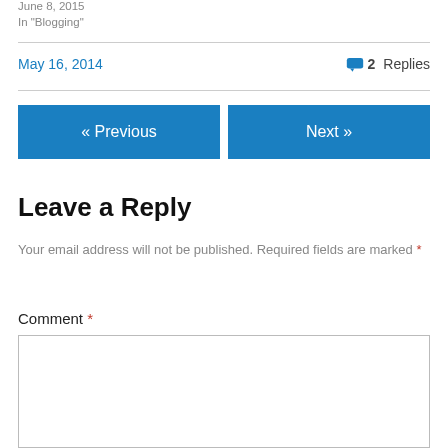June 8, 2015
In "Blogging"
May 16, 2014
2 Replies
« Previous
Next »
Leave a Reply
Your email address will not be published. Required fields are marked *
Comment *